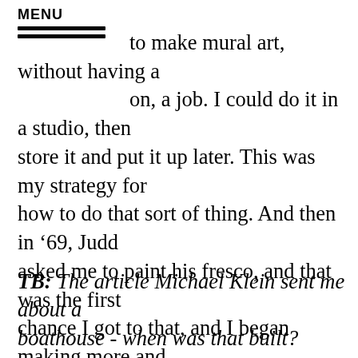MENU
didn't want to make Matisses, but this to make mural art, without having a commission, a job. I could do it in a studio, then store it and put it up later. This was my strategy for how to do that sort of thing. And then in ’69, Judd asked me to paint his fresco, and that was the first chance I got to that, and I began making more and more fresco projects and other sorts of architectural projects. I made a solar painting in the Newark train station, it is a triptych in an arch, that opens and closes with light…and I made these projects until they stopped happening.
TB: The article Michael Klein sent me about a boathouse - when was that built?